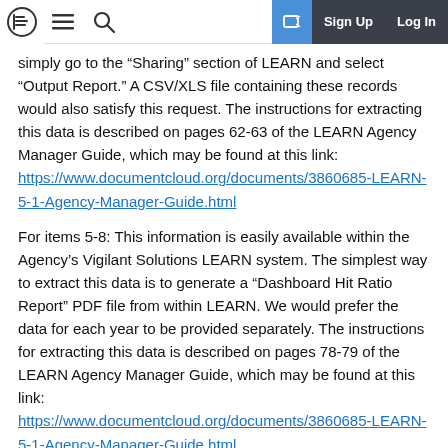Navigation bar with logo, hamburger menu, search, sign up, log in
simply go to the “Sharing” section of LEARN and select “Output Report.” A CSV/XLS file containing these records would also satisfy this request. The instructions for extracting this data is described on pages 62-63 of the LEARN Agency Manager Guide, which may be found at this link: https://www.documentcloud.org/documents/3860685-LEARN-5-1-Agency-Manager-Guide.html
For items 5-8: This information is easily available within the Agency’s Vigilant Solutions LEARN system. The simplest way to extract this data is to generate a “Dashboard Hit Ratio Report” PDF file from within LEARN. We would prefer the data for each year to be provided separately. The instructions for extracting this data is described on pages 78-79 of the LEARN Agency Manager Guide, which may be found at this link: https://www.documentcloud.org/documents/3860685-LEARN-5-1-Agency-Manager-Guide.html